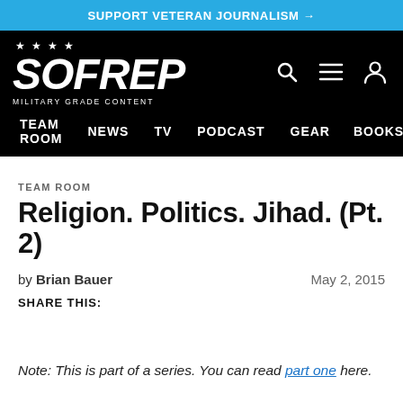SUPPORT VETERAN JOURNALISM →
[Figure (logo): SOFREP logo with stars and tagline 'MILITARY GRADE CONTENT' on black background, with navigation icons (search, menu, account) and nav items: TEAM ROOM, NEWS, TV, PODCAST, GEAR, BOOKS]
TEAM ROOM
Religion. Politics. Jihad. (Pt. 2)
by Brian Bauer   May 2, 2015
SHARE THIS:
Note: This is part of a series. You can read part one here.